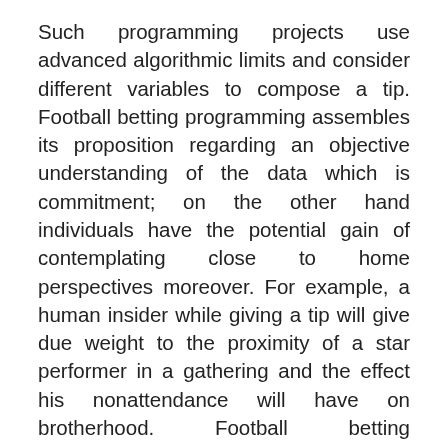Such programming projects use advanced algorithmic limits and consider different variables to compose a tip. Football betting programming assembles its proposition regarding an objective understanding of the data which is commitment; on the other hand individuals have the potential gain of contemplating close to home perspectives moreover. For example, a human insider while giving a tip will give due weight to the proximity of a star performer in a gathering and the effect his nonattendance will have on brotherhood. Football betting programming would not consider with the exception of on the off chance that a given profound condition can be addressed as estimation. This does not infer that item does not help. It is not very much that there is such countless football betting programming associations out there selling their stuff, a lot of which reports an accuracy speed of above 60%.